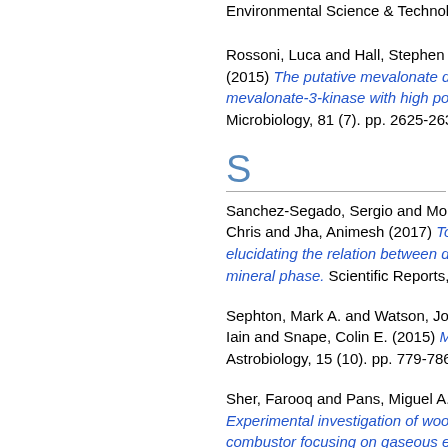Environmental Science & Technology, 49 (18
Rossoni, Luca and Hall, Stephen J. and East... (2015) The putative mevalonate diphosphate... mevalonate-3-kinase with high potential for b... Microbiology, 81 (7). pp. 2625-2634. ISSN 10
S
Sanchez-Segado, Sergio and Monti, Tamara... Chris and Jha, Animesh (2017) Towards sust... elucidating the relation between dielectric pro... mineral phase. Scientific Reports, 7 . p. 1801
Sephton, Mark A. and Watson, Jonathan S. a... Iain and Snape, Colin E. (2015) Multiple cosr... Astrobiology, 15 (10). pp. 779-786. ISSN 155
Sher, Farooq and Pans, Miguel A. and Afilaka... Experimental investigation of woody and nom... combustor focusing on gaseous emissions ar... ISSN 1873-6785
Sher, Farooq and Pans, Miguel A. and Sun, C... Oxy-fuel combustion study of biomass fuels i... 778-786. ISSN 1873-7153
Sher, Farooq and Sajid, Z... and T...